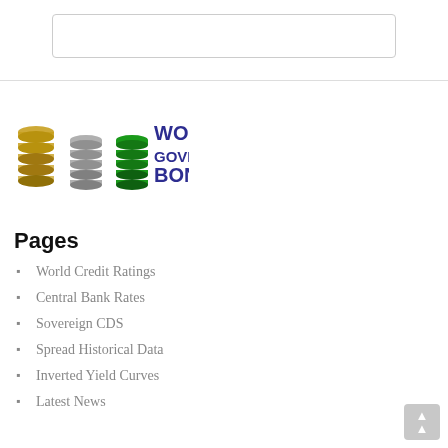[Figure (logo): World Government Bonds logo with three stacked coin/disk icons in gold, silver, and green colors, and text 'WORLD GOVERNMENT BONDS' in dark blue/purple]
Pages
World Credit Ratings
Central Bank Rates
Sovereign CDS
Spread Historical Data
Inverted Yield Curves
Latest News